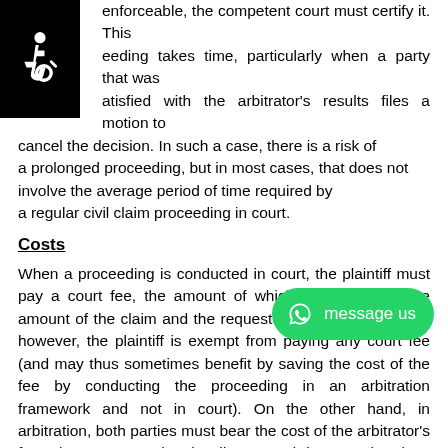order for an arbitration decision to be effective and enforceable, the competent court must certify it. This proceeding takes time, particularly when a party that was not satisfied with the arbitrator's results files a motion to cancel the decision. In such a case, there is a risk of a prolonged proceeding, but in most cases, that does not involve the average period of time required by a regular civil claim proceeding in court.
Costs
When a proceeding is conducted in court, the plaintiff must pay a court fee, the amount of which is dictated by the amount of the claim and the requested relief. In arbitration, however, the plaintiff is exempt from paying any court fee (and may thus sometimes benefit by saving the cost of the fee by conducting the proceeding in an arbitration framework and not in court). On the other hand, in arbitration, both parties must bear the cost of the arbitrator's fee. The more complex the dispute and the more hearings required, the higher the arbitrator's fee.
Determining the identity of the decidi...
When a claim is filed in court, the office of the president of the court determines the identity of the judge who will hear the case. The parties themselves have no say whatsoever